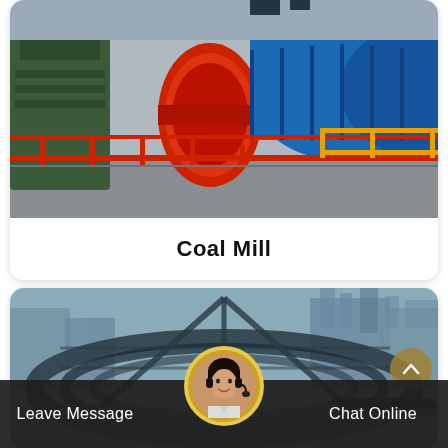[Figure (photo): Industrial coal mill equipment with large blue cylindrical drum, red safety railings, and green machinery in a factory setting]
Coal Mill
[Figure (photo): Aerial/overhead view of an industrial facility with circular conveyor structures, steel framework, and industrial buildings in the background]
Leave Message
Chat Online